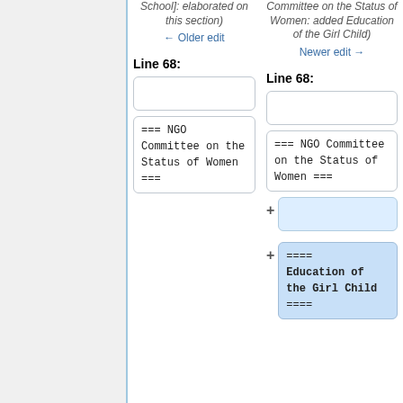School]: elaborated on this section)
← Older edit
Committee on the Status of Women: added Education of the Girl Child)
Newer edit →
Line 68:
Line 68:
=== NGO Committee on the Status of Women ===
=== NGO Committee on the Status of Women ===
==== Education of the Girl Child ====